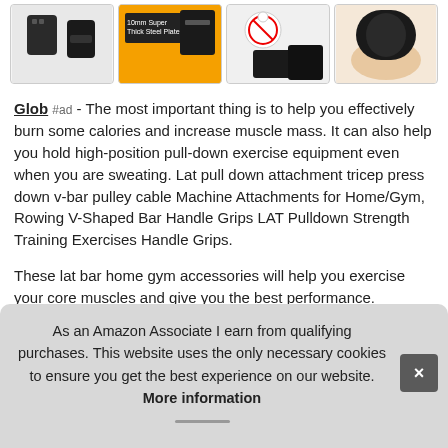[Figure (photo): Four product images of gym/fitness equipment accessories shown in a row at the top of the page]
Glob #ad - The most important thing is to help you effectively burn some calories and increase muscle mass. It can also help you hold high-position pull-down exercise equipment even when you are sweating. Lat pull down attachment tricep press down v-bar pulley cable Machine Attachments for Home/Gym, Rowing V-Shaped Bar Handle Grips LAT Pulldown Strength Training Exercises Handle Grips.
These lat bar home gym accessories will help you exercise your core muscles and give you the best performance. Ergo... slidi... text...
As an Amazon Associate I earn from qualifying purchases. This website uses the only necessary cookies to ensure you get the best experience on our website. More information